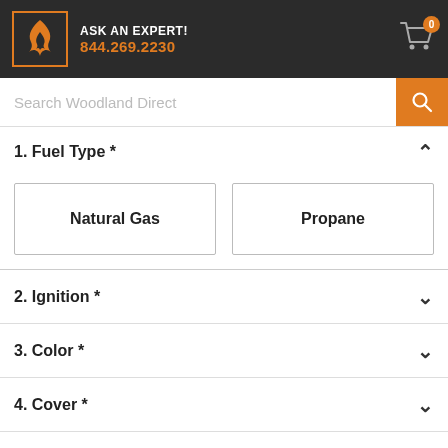ASK AN EXPERT! 844.269.2230
Search Woodland Direct
1. Fuel Type *
Natural Gas
Propane
2. Ignition *
3. Color *
4. Cover *
5. Fireglass *